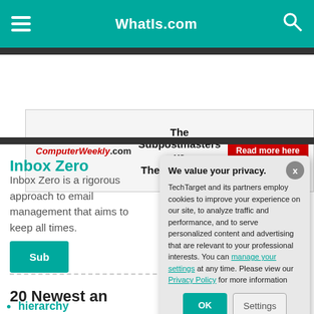WhatIs.com
[Figure (screenshot): Advertisement banner for ComputerWeekly.com: 'The Subpostmasters vs The Post Office — Read more here']
Inbox Zero
Inbox Zero is a rigorous approach to email management that aims to keep the inbox empty — or almost empty — at all times.
20 Newest an…
hierarchy
JSON (JavaSc…
backpropagat…
We value your privacy. TechTarget and its partners employ cookies to improve your experience on our site, to analyze traffic and performance, and to serve personalized content and advertising that are relevant to your professional interests. You can manage your settings at any time. Please view our Privacy Policy for more information